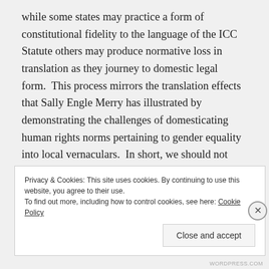while some states may practice a form of constitutional fidelity to the language of the ICC Statute others may produce normative loss in translation as they journey to domestic legal form.  This process mirrors the translation effects that Sally Engle Merry has illustrated by demonstrating the challenges of domesticating human rights norms pertaining to gender equality into local vernaculars.  In short, we should not necessarily presume positive outcomes for women from norm transplant.
Privacy & Cookies: This site uses cookies. By continuing to use this website, you agree to their use. To find out more, including how to control cookies, see here: Cookie Policy
Close and accept
WORDPRESS.COM